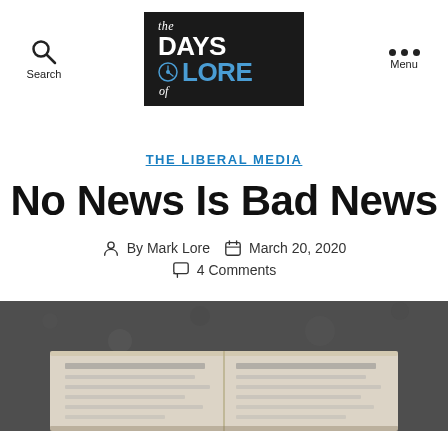Search | The Days of Lore | Menu
THE LIBERAL MEDIA
No News Is Bad News
By Mark Lore  March 20, 2020  4 Comments
[Figure (photo): Photograph of a newspaper or magazine on a dark asphalt surface, partially visible at the bottom of the page]